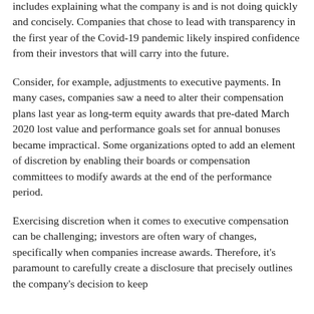includes explaining what the company is and is not doing quickly and concisely. Companies that chose to lead with transparency in the first year of the Covid-19 pandemic likely inspired confidence from their investors that will carry into the future.
Consider, for example, adjustments to executive payments. In many cases, companies saw a need to alter their compensation plans last year as long-term equity awards that pre-dated March 2020 lost value and performance goals set for annual bonuses became impractical. Some organizations opted to add an element of discretion by enabling their boards or compensation committees to modify awards at the end of the performance period.
Exercising discretion when it comes to executive compensation can be challenging; investors are often wary of changes, specifically when companies increase awards. Therefore, it's paramount to carefully create a disclosure that precisely outlines the company's decision to keep